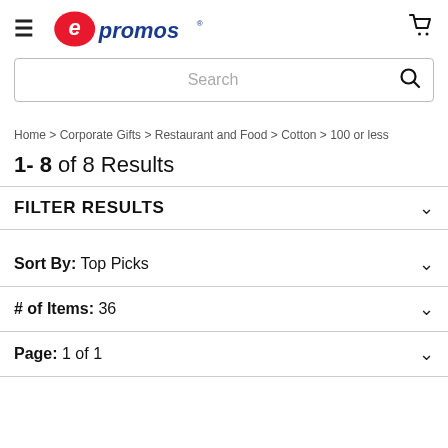[Figure (logo): epromos logo with red oval e and blue text promos]
Search
Home > Corporate Gifts > Restaurant and Food > Cotton > 100 or less
1- 8 of 8 Results
FILTER RESULTS
Sort By: Top Picks
# of Items: 36
Page: 1 of 1